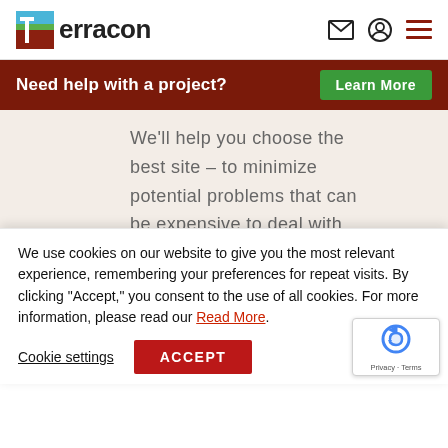Terracon — header with logo and navigation icons
Need help with a project?
Learn More
We'll help you choose the best site – to minimize potential problems that can be expensive to deal with during site development and
We use cookies on our website to give you the most relevant experience, remembering your preferences for repeat visits. By clicking "Accept," you consent to the use of all cookies. For more information, please read our Read More.
Cookie settings
ACCEPT